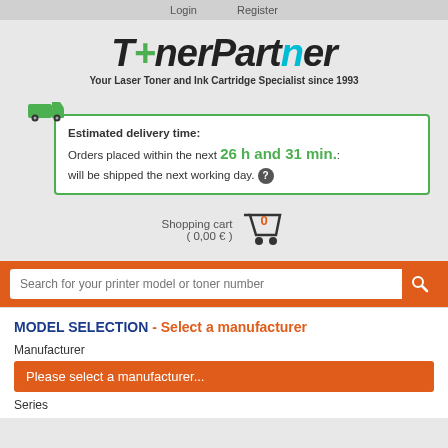Login  Register
[Figure (logo): TonerPartner logo with italic bold text and colored plus sign, subtitle: Your Laser Toner and Ink Cartridge Specialist since 1993]
Estimated delivery time: Orders placed within the next 26 h and 31 min.: will be shipped the next working day.
Shopping cart ( 0,00 € )
Search for your printer model or toner number
MODEL SELECTION - Select a manufacturer
Manufacturer
Please select a manufacturer...
Series